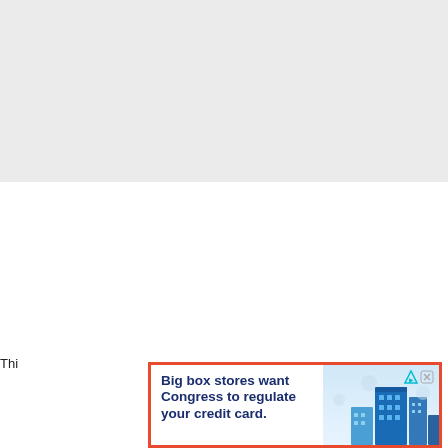[Figure (illustration): Gray background block occupying the top portion of the page, representing a blurred or placeholder content area.]
Thi...
[Figure (infographic): Advertisement banner with orange border. Text reads: 'Big box stores want Congress to regulate your credit card.' with an illustration of city buildings on the right side. Top-right corner shows AdChoices triangle icon and a close X button.]